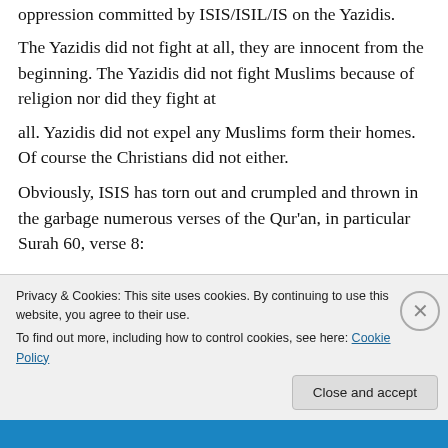oppression committed by ISIS/ISIL/IS on the Yazidis.
The Yazidis did not fight at all, they are innocent from the beginning. The Yazidis did not fight Muslims because of religion nor did they fight at all. Yazidis did not expel any Muslims form their homes. Of course the Christians did not either.
Obviously, ISIS has torn out and crumpled and thrown in the garbage numerous verses of the Qur'an, in particular Surah 60, verse 8:
Privacy & Cookies: This site uses cookies. By continuing to use this website, you agree to their use.
To find out more, including how to control cookies, see here: Cookie Policy
Close and accept